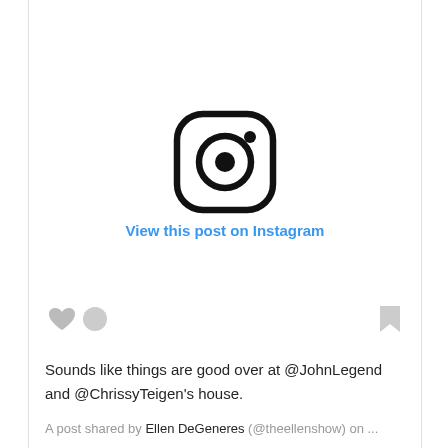[Figure (logo): Instagram logo icon — rounded square outline with a circle inside and a small dot in the upper right]
View this post on Instagram
[Figure (infographic): Social media action icons: heart icon (like), circle icon (comment), and bookmark icon on the right]
Sounds like things are good over at @JohnLegend and @ChrissyTeigen's house.
A post shared by Ellen DeGeneres (@theellenshow) on ...